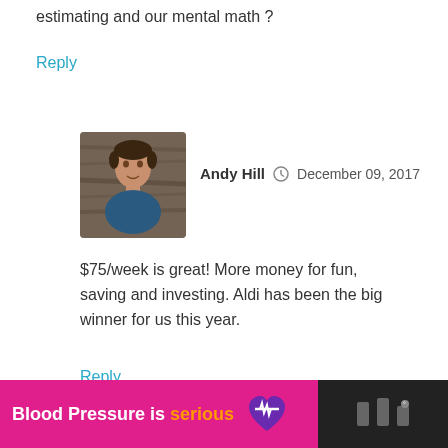estimating and our mental math ?
Reply
[Figure (photo): Avatar photo of Andy Hill, a man in a dark blue shirt against a wooden background]
Andy Hill  December 09, 2017
$75/week is great! More money for fun, saving and investing. Aldi has been the big winner for us this year.
Reply
Leave a Reply
Your email address will not be published. Required fields
[Figure (infographic): Pink advertisement banner: Blood Pressure is serious with purple heart logo, followed by dark section with icons]